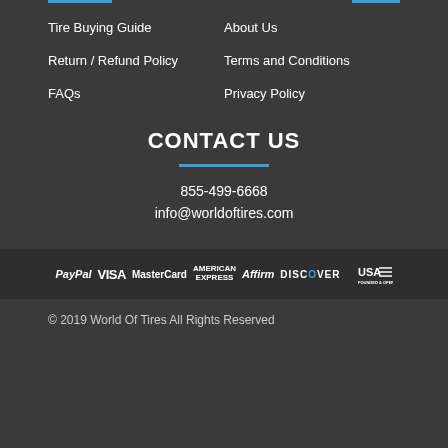Tire Buying Guide
Return / Refund Policy
FAQs
About Us
Terms and Conditions
Privacy Policy
CONTACT US
855-499-6668
info@worldoftires.com
[Figure (logo): Payment method logos: PayPal, VISA, MasterCard, American Express, Affirm, DISCOVER, USA Founded & Operated]
© 2019 World Of Tires All Rights Reserved